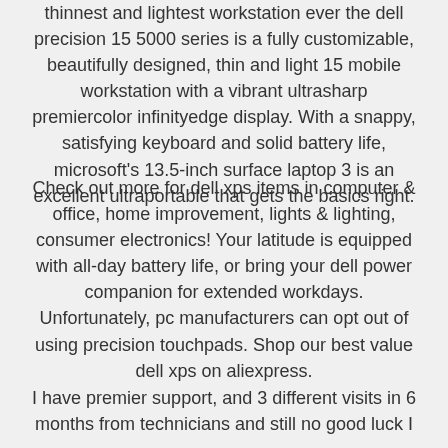thinnest and lightest workstation ever the dell precision 15 5000 series is a fully customizable, beautifully designed, thin and light 15 mobile workstation with a vibrant ultrasharp premiercolor infinityedge display. With a snappy, satisfying keyboard and solid battery life, microsoft's 13.5-inch surface laptop 3 is an excellent ultraportable that gets the basics right.
Check out more for dell xps items in computer & office, home improvement, lights & lighting, consumer electronics! Your latitude is equipped with all-day battery life, or bring your dell power companion for extended workdays. Unfortunately, pc manufacturers can opt out of using precision touchpads. Shop our best value dell xps on aliexpress.
I have premier support, and 3 different visits in 6 months from technicians and still no good luck I